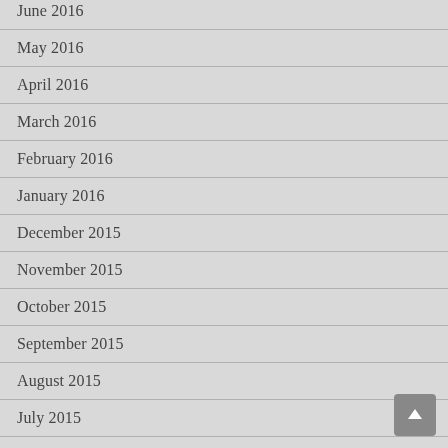June 2016
May 2016
April 2016
March 2016
February 2016
January 2016
December 2015
November 2015
October 2015
September 2015
August 2015
July 2015
June 2015
May 2015